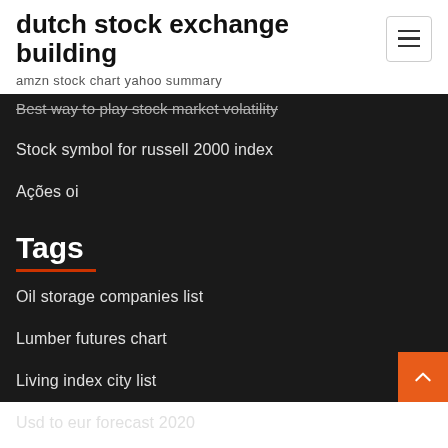dutch stock exchange building
amzn stock chart yahoo summary
Best way to play stock market volatility
Stock symbol for russell 2000 index
Ações oi
Tags
Oil storage companies list
Lumber futures chart
Living index city list
Usd to eur forecast 2020
How can you start trading stocks